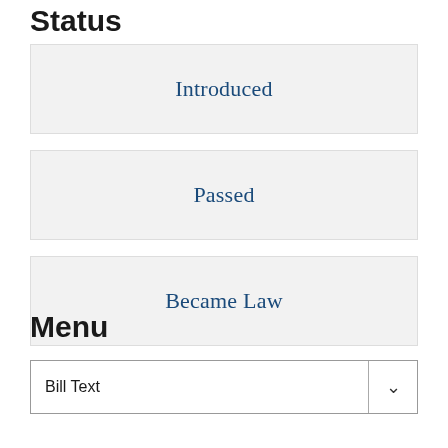Status
Introduced
Passed
Became Law
Menu
Bill Text